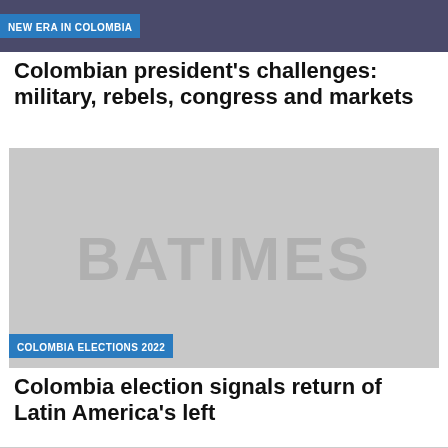[Figure (photo): Dark-toned photo with purple/blue tones, partially visible]
NEW ERA IN COLOMBIA
Colombian president's challenges: military, rebels, congress and markets
[Figure (photo): Placeholder image with BATIMES watermark on gray background]
COLOMBIA ELECTIONS 2022
Colombia election signals return of Latin America's left